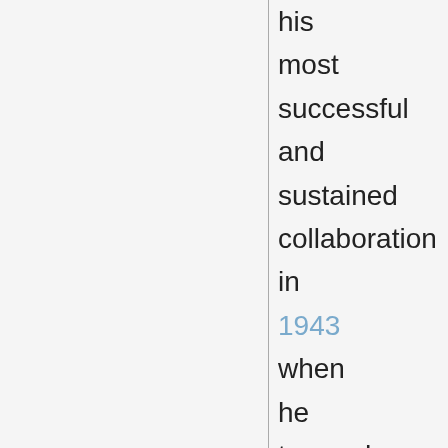his most successful and sustained collaboration in 1943 when he teamed up with Richard Rodgers, whose